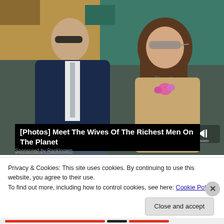[Figure (photo): Two people sitting in stadium seats — a man in a dark suit with sunglasses and a woman with long brown hair wearing sunglasses and a lace top with a pink flower]
[Photos] Meet The Wives Of The Richest Men On The Planet
Privacy & Cookies: This site uses cookies. By continuing to use this website, you agree to their use.
To find out more, including how to control cookies, see here: Cookie Policy
Close and accept